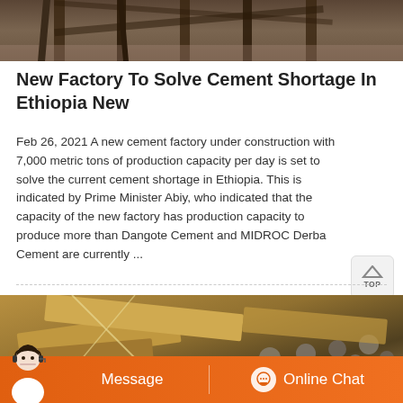[Figure (photo): Top portion of a construction site with wooden structural beams/pillars visible against a stone background]
New Factory To Solve Cement Shortage In Ethiopia New
Feb 26, 2021 A new cement factory under construction with 7,000 metric tons of production capacity per day is set to solve the current cement shortage in Ethiopia. This is indicated by Prime Minister Abiy, who indicated that the capacity of the new factory has production capacity to produce more than Dangote Cement and MIDROC Derba Cement are currently ...
[Figure (photo): Construction site showing wooden scaffolding, ropes, and gravel/stones in the background]
Message   Online Chat